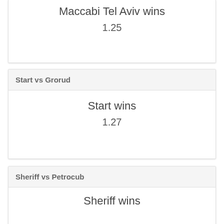Maccabi Tel Aviv wins
1.25
Start vs Grorud
Start wins
1.27
Sheriff vs Petrocub
Sheriff wins